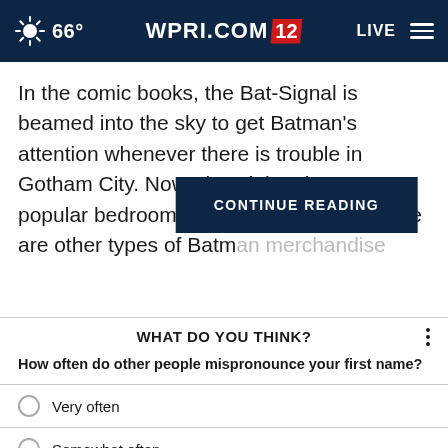66° WPRI.COM 12 LIVE
In the comic books, the Bat-Signal is beamed into the sky to get Batman's attention whenever there is trouble in Gotham City. Nowadays it has become a popular bedroom light. But, of course, there are other types of Batm
CONTINUE READING
WHAT DO YOU THINK?
How often do other people mispronounce your first name?
Very often
Somewhat often
Not at all often